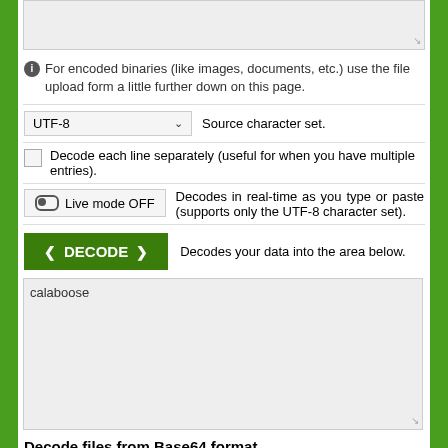[Figure (screenshot): Textarea input box, empty, with light gray background]
For encoded binaries (like images, documents, etc.) use the file upload form a little further down on this page.
UTF-8    Source character set.
Decode each line separately (useful for when you have multiple entries).
Live mode OFF    Decodes in real-time as you type or paste (supports only the UTF-8 character set).
DECODE    Decodes your data into the area below.
calaboose
Decode files from Base64 format